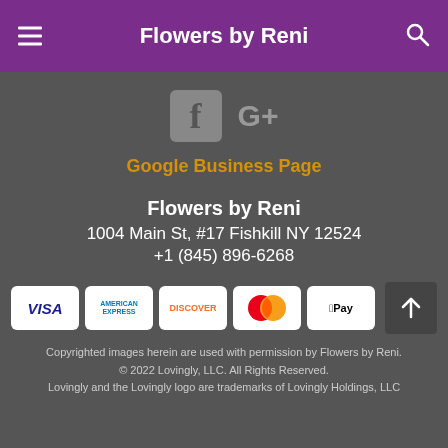Flowers by Reni
[Figure (logo): Facebook and Google+ social media icons]
Google Business Page
Flowers by Reni
1004 Main St, #17 Fishkill NY 12524
+1 (845) 896-6268
[Figure (other): Payment method icons: VISA, American Express, Discover, Mastercard, Apple Pay]
Copyrighted images herein are used with permission by Flowers by Reni.
© 2022 Lovingly, LLC. All Rights Reserved.
Lovingly and the Lovingly logo are trademarks of Lovingly Holdings, LLC